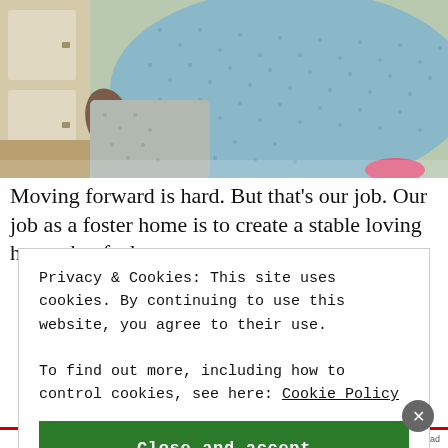[Figure (photo): Close-up photo of a person's midsection wearing a light blue polka-dot hospital gown, with a hand visible at the side and a pink item visible at the bottom right. A white cabinet is visible in the background.]
Moving forward is hard. But that's our job. Our job as a foster home is to create a stable loving home that feels
Privacy & Cookies: This site uses cookies. By continuing to use this website, you agree to their use.
To find out more, including how to control cookies, see here: Cookie Policy
Close and accept